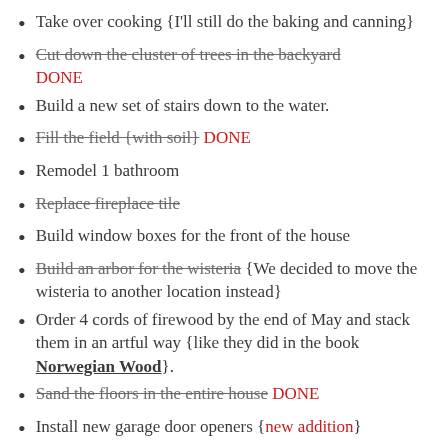Take over cooking {I'll still do the baking and canning}
Cut down the cluster of trees in the backyard DONE
Build a new set of stairs down to the water.
Fill the field {with soil} DONE
Remodel 1 bathroom
Replace fireplace tile
Build window boxes for the front of the house
Build an arbor for the wisteria {We decided to move the wisteria to another location instead}
Order 4 cords of firewood by the end of May and stack them in an artful way {like they did in the book Norwegian Wood}.
Sand the floors in the entire house DONE
Install new garage door openers {new addition}